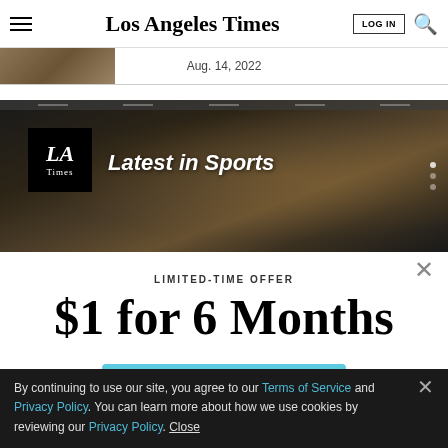Los Angeles Times | LOG IN | Search
Aug. 14, 2022
[Figure (photo): Sports banner with LA Times logo and crowd background. Text reads: Latest in Sports]
LIMITED-TIME OFFER
$1 for 6 Months
SUBSCRIBE NOW
By continuing to use our site, you agree to our Terms of Service and Privacy Policy. You can learn more about how we use cookies by reviewing our Privacy Policy. Close